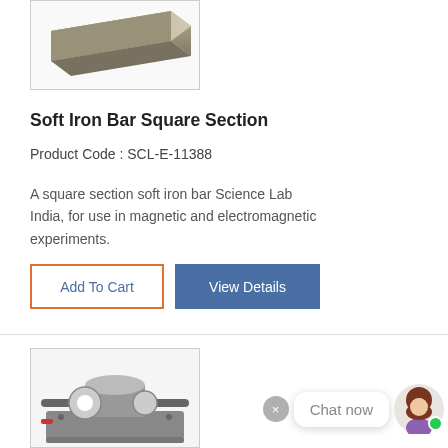[Figure (photo): Soft iron bar square section product photo - metallic bar photographed from an angle]
Soft Iron Bar Square Section
Product Code : SCL-E-11388
A square section soft iron bar Science Lab India, for use in magnetic and electromagnetic experiments.
[Figure (screenshot): Add To Cart button with orange border and View Details button with blue background]
[Figure (photo): Second product photo - laboratory instrument, appears to be a motor or electromagnetic device on a grey base]
[Figure (screenshot): Chat now widget with close button, chat bubble, and avatar with green online indicator]